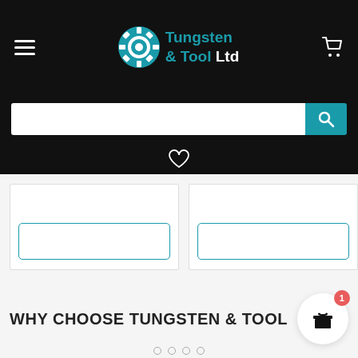Tungsten & Tool Ltd
[Figure (logo): Tungsten & Tool Ltd logo with circular gear icon in teal and white, company name in teal text]
[Figure (screenshot): Search bar with white input field and teal search button with magnifying glass icon]
[Figure (infographic): Heart/wishlist icon outline in white on black background]
[Figure (screenshot): Two product card placeholders side by side with teal-bordered button boxes at bottom]
WHY CHOOSE TUNGSTEN & TOOL
[Figure (infographic): Gift box icon in circular white button with red notification badge showing number 1]